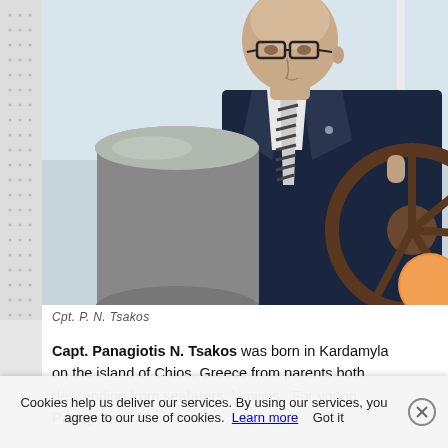[Figure (photo): Black and white photograph of Capt. Panagiotis N. Tsakos, an older bald man wearing glasses, a dark suit with a striped tie, standing at a ship's wheel. In the foreground is a large metal canister/compass binnacle. Background shows open sky.]
Cpt. P. N. Tsakos
Capt. Panagiotis N. Tsakos was born in Kardamyla on the island of Chios, Greece from parents both descending from seafarers' families.  For young Panagiotis
Cookies help us deliver our services. By using our services, you agree to our use of cookies.  Learn more    Got it